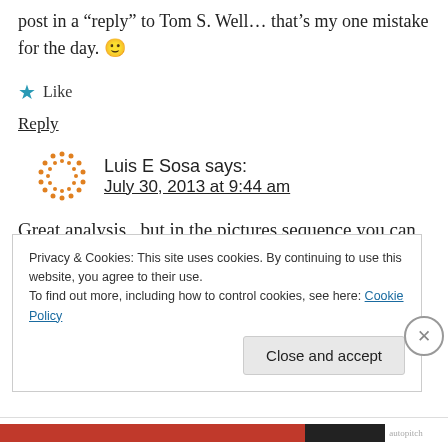post in a “reply” to Tom S. Well… that’s my one mistake for the day. 🙂
★ Like
Reply
Luis E Sosa says:
July 30, 2013 at 9:44 am
Great analysis , but in the pictures sequence you can clearly see Arbeloa is
Privacy & Cookies: This site uses cookies. By continuing to use this website, you agree to their use.
To find out more, including how to control cookies, see here: Cookie Policy
Close and accept